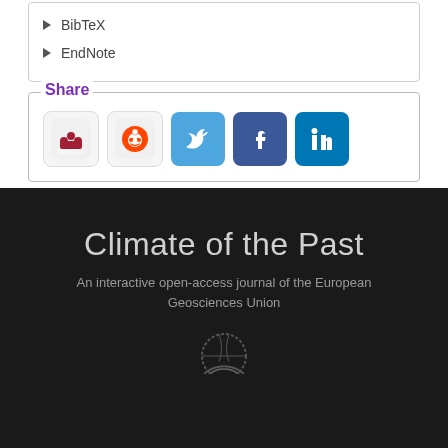▶ BibTeX
▶ EndNote
Share
[Figure (other): Social media share buttons: Mendeley, Reddit, Twitter, Facebook, LinkedIn]
Climate of the Past
An interactive open-access journal of the European Geosciences Union
[Figure (logo): EGU circular logo (partial, bottom of page)]